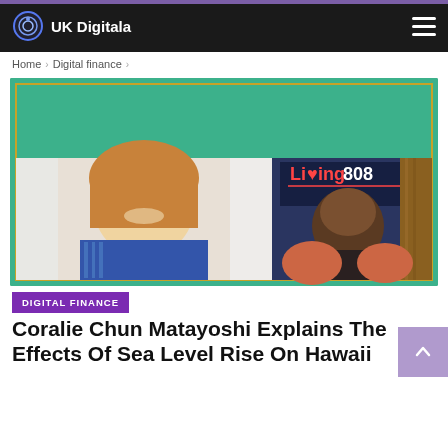UK Digitala
Home > Digital finance >
[Figure (photo): Screenshot of a video call showing two people: a woman with blonde hair wearing a blue patterned top on the left, and a young man on the right with a Living808 TV show banner/logo visible behind him. The background is a teal/green decorative pattern.]
DIGITAL FINANCE
Coralie Chun Matayoshi Explains The Effects Of Sea Level Rise On Hawaii